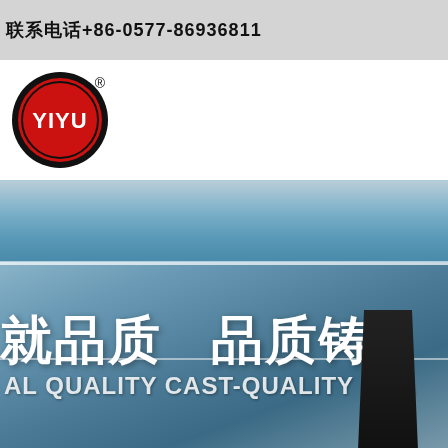联系电话+86-0577-86936811
[Figure (logo): YIYU company logo: red circle with black border, white text YIYU inside, registered trademark symbol]
[Figure (photo): Blue gradient banner strip]
就品质   品质铸造 AL QUALITY CAST-QUALITY BRA